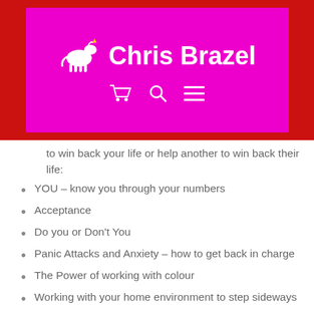Chris Brazel
to win back your life or help another to win back their life:
YOU – know you through your numbers
Acceptance
Do you or Don't You
Panic Attacks and Anxiety – how to get back in charge
The Power of working with colour
Working with your home environment to step sideways
Buddha Walk
Shower Power – working with water